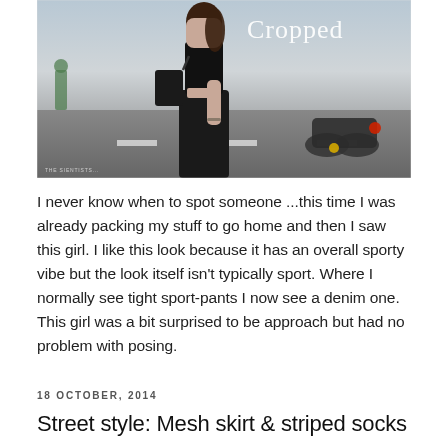[Figure (photo): Street style photo of a woman in black cropped top and wide-leg dark pants on a city street with motorcycles in the background. Script text 'Cropped' overlaid in white in the upper right. Watermark credit text in lower left.]
I never know when to spot someone ...this time I was already packing my stuff to go home and then I saw this girl. I like this look because it has an overall sporty vibe but the look itself isn't typically sport. Where I normally see tight sport-pants I now see a denim one. This girl was a bit surprised to be approach but had no problem with posing.
18 OCTOBER, 2014
Street style: Mesh skirt & striped socks